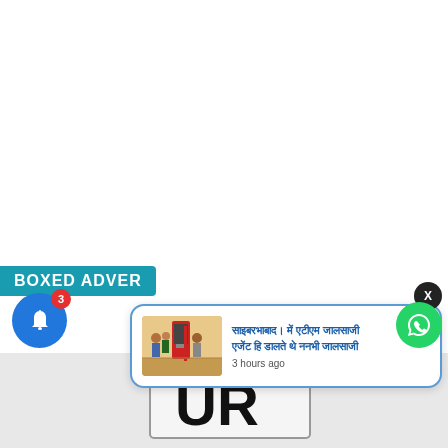[Figure (screenshot): Mostly white/blank webpage background area taking up the top portion of the page]
BOXED ADVER
[Figure (screenshot): Notification popup card with a thumbnail image of people at an ATM/kiosk, Hindi headline text in blue, and '3 hours ago' timestamp]
3 hours ago
[Figure (screenshot): Bell icon with badge showing count 3, circular blue button at bottom left]
[Figure (screenshot): X close button, dark circle at top right of notification card]
[Figure (screenshot): Green WhatsApp-style circular button at bottom right]
[Figure (screenshot): Partial bottom image showing what appears to be a license plate or sign with 'UR']